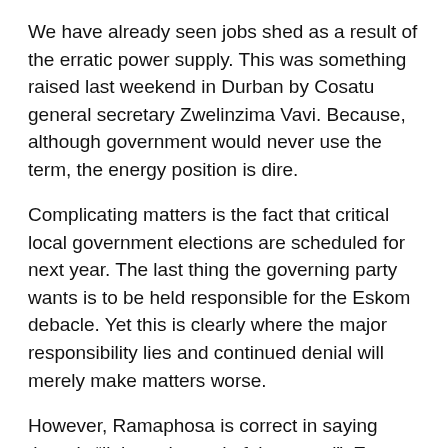We have already seen jobs shed as a result of the erratic power supply. This was something raised last weekend in Durban by Cosatu general secretary Zwelinzima Vavi. Because, although government would never use the term, the energy position is dire.
Complicating matters is the fact that critical local government elections are scheduled for next year. The last thing the governing party wants is to be held responsible for the Eskom debacle. Yet this is clearly where the major responsibility lies and continued denial will merely make matters worse.
However, Ramaphosa is correct in saying there is “light at the end of the tunnel”. Except that it is a very long, and potentially very dark, tunnel. This means the situation is so serious that this is no time to play the blame game. Here is